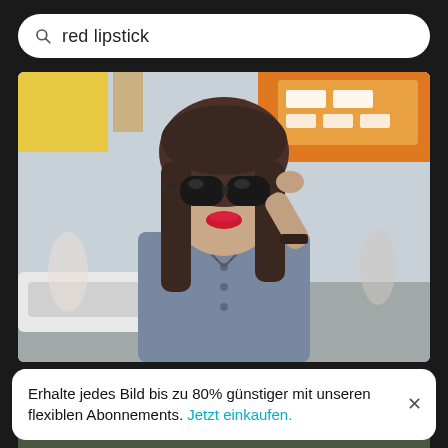red lipstick
[Figure (photo): Close-up of smiling young woman wearing sunglasses in city, with red lipstick, grey sleeveless top, adjusting sunglasses with one hand, urban background with orange storefront]
Close-up of smiling young woman wearing sunglasses in city
[Figure (photo): Partial image strip at bottom, dark green/forest background]
Erhalte jedes Bild bis zu 80% günstiger mit unseren flexiblen Abonnements. Jetzt einkaufen.